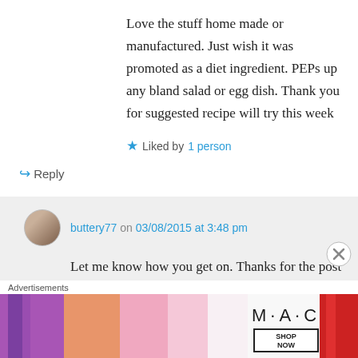Love the stuff home made or manufactured. Just wish it was promoted as a diet ingredient. PEPs up any bland salad or egg dish. Thank you for suggested recipe will try this week
★ Liked by 1 person
↪ Reply
buttery77 on 03/08/2015 at 3:48 pm
Let me know how you get on. Thanks for the post
★ Like
Advertisements
[Figure (photo): MAC cosmetics advertisement showing lipsticks with SHOP NOW button]